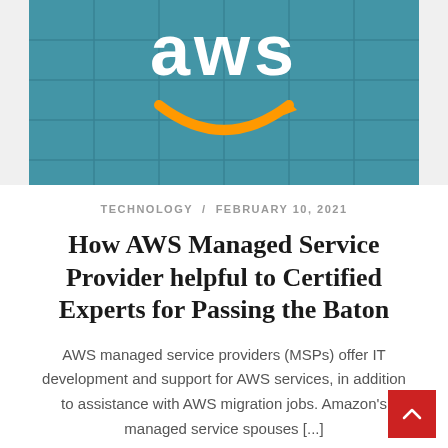[Figure (photo): AWS building exterior showing the AWS logo (white text) with orange Amazon smile/arrow beneath it, on a glass-paneled building facade with teal/blue-green tones.]
TECHNOLOGY / FEBRUARY 10, 2021
How AWS Managed Service Provider helpful to Certified Experts for Passing the Baton
AWS managed service providers (MSPs) offer IT development and support for AWS services, in addition to assistance with AWS migration jobs. Amazon's managed service spouses [...]